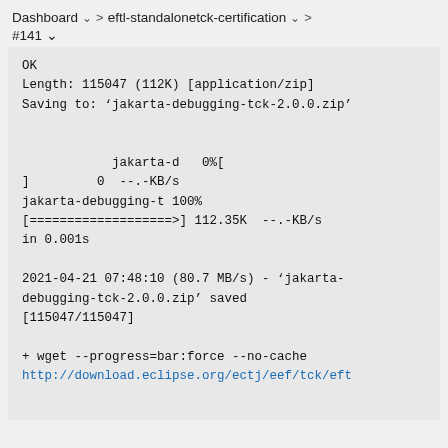Dashboard > eftl-standalonetck-certification > #141
OK
Length: 115047 (112K) [application/zip]
Saving to: 'jakarta-debugging-tck-2.0.0.zip'

            jakarta-d   0%[
]         0  --.-KB/s
jakarta-debugging-t 100%
[===================>] 112.35K  --.-KB/s
in 0.001s

2021-04-21 07:48:10 (80.7 MB/s) - 'jakarta-debugging-tck-2.0.0.zip' saved
[115047/115047]

+ wget --progress=bar:force --no-cache
http://download.eclipse.org/ectj/eef/tck/eft